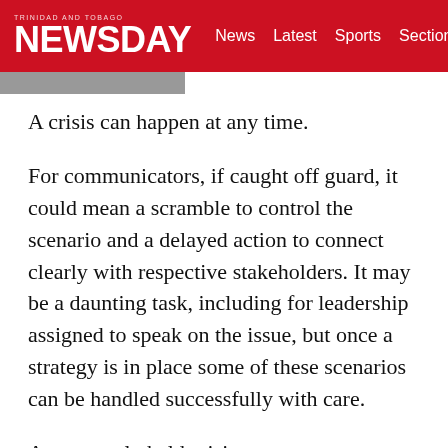TRINIDAD AND TOBAGO NEWSDAY — News Latest Sports Sections
A crisis can happen at any time.
For communicators, if caught off guard, it could mean a scramble to control the scenario and a delayed action to connect clearly with respective stakeholders. It may be a daunting task, including for leadership assigned to speak on the issue, but once a strategy is in place some of these scenarios can be handled successfully with care.
At a recently held crisis management workshop hosted by Reputation Management Caribbean, managing director Lisa Ann Joseph gave this reassurance to participants. But she also stressed